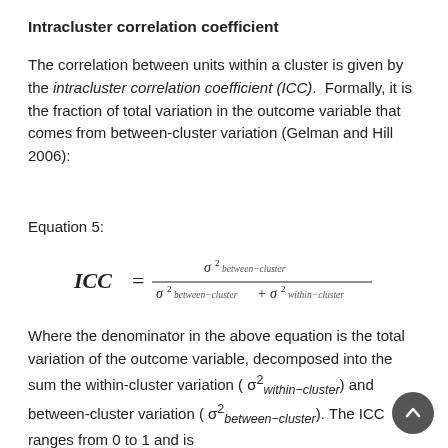Intracluster correlation coefficient
The correlation between units within a cluster is given by the intracluster correlation coefficient (ICC). Formally, it is the fraction of total variation in the outcome variable that comes from between-cluster variation (Gelman and Hill 2006):
Equation 5:
Where the denominator in the above equation is the total variation of the outcome variable, decomposed into the sum the within-cluster variation (σ²within-cluster) and between-cluster variation (σ²between-cluster). The ICC ranges from 0 to 1 and is